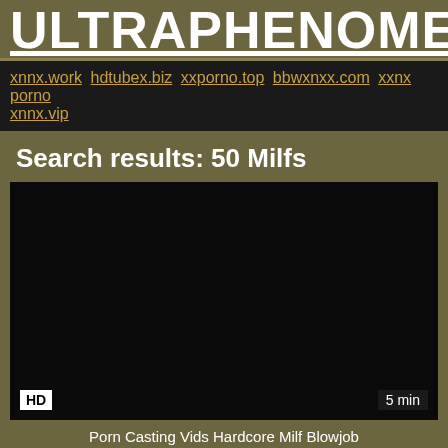ULTRAPHENOMENA.OR
xnnx.work hdtubex.biz xxporno.top bbwxnxx.com xxnx porno xnnx.vip
Search results: 50 Milfs
[Figure (screenshot): Dark video thumbnail with HD badge at bottom left and 5 min badge at bottom right]
Porn Casting Vids Hardcore Milf Blowjob
hardcore, milf, blowjob, rough fuck, nude milf, mature fu...